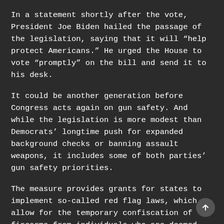In a statement shortly after the vote, President Joe Biden hailed the passage of the legislation, saying that it will “help protect Americans.” He urged the House to vote “promptly” on the bill and send it to his desk.
It could be another generation before Congress acts again on gun safety. And while the legislation is more modest than Democrats’ longtime push for expanded background checks or banning assault weapons, it includes some of both parties’ gun safety priorities.
The measure provides grants for states to implement so-called red flag laws, which allow for the temporary confiscation of firearms from individuals who are deemed threats to themselves or others, as well as other crisis intervention programs.
In addition, it closes what’s known as the “boyfriend loophole” by barring individuals with misdemeanor convictions of domestic violence against dating partners